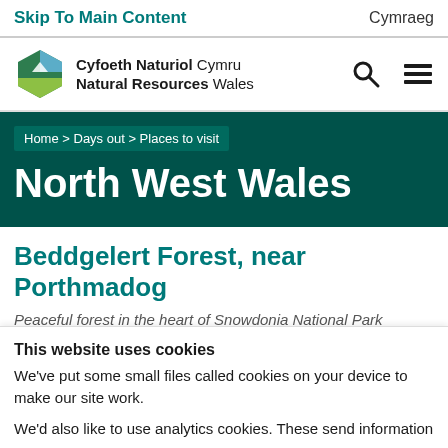Skip To Main Content | Cymraeg
[Figure (logo): Cyfoeth Naturiol Cymru / Natural Resources Wales logo with hexagonal green icon]
Cyfoeth Naturiol Cymru Natural Resources Wales
Home > Days out > Places to visit
North West Wales
Beddgelert Forest, near Porthmadog
Peaceful forest in the heart of Snowdonia National Park
This website uses cookies
We've put some small files called cookies on your device to make our site work.
We'd also like to use analytics cookies. These send information